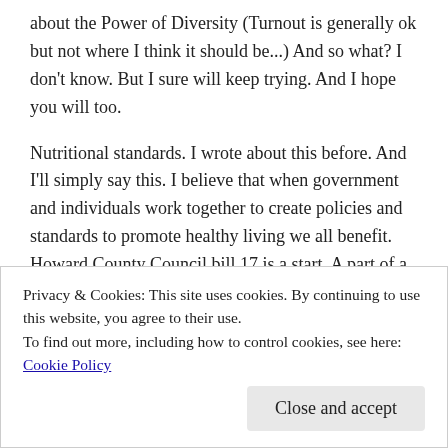about the Power of Diversity (Turnout is generally ok but not where I think it should be...)  And so what?  I don't know.  But I sure will keep trying.  And I hope you will too.
Nutritional standards.  I wrote about this before.  And I'll simply say this.  I believe that when government and individuals work together to create policies and standards to promote healthy living we all benefit.  Howard County Council bill 17 is a start.  A part of a comprehensive approach to promote healthy living.  Reach out to your council person and ask them to support the bill (Call me if you don't know who your
Privacy & Cookies: This site uses cookies. By continuing to use this website, you agree to their use.
To find out more, including how to control cookies, see here: Cookie Policy
Close and accept